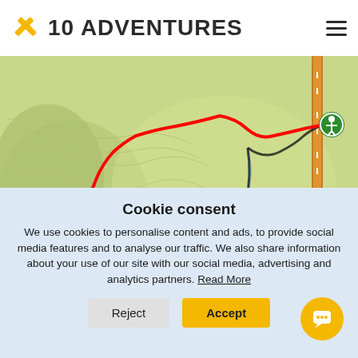10 ADVENTURES
[Figure (map): Topographic trail map showing a red hiking route over green terrain with elevation contours, a blue pond, and a road on the right side with a hiker icon marker at the trailhead.]
Cookie consent
We use cookies to personalise content and ads, to provide social media features and to analyse our traffic. We also share information about your use of our site with our social media, advertising and analytics partners. Read More